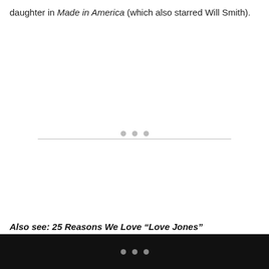daughter in Made in America (which also starred Will Smith).
Also see: 25 Reasons We Love “Love Jones”